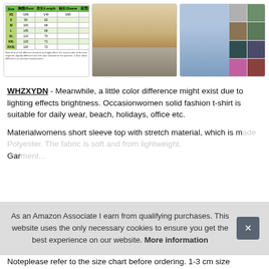[Figure (table-as-image): Size chart table with green header and rows for sizes XS, S, M, L, XL, XXL, XXXL showing bust/chest, length, sleeve, and shoulder measurements]
[Figure (photo): Woman wearing a beige/tan short sleeve t-shirt outdoors]
[Figure (photo): Woman wearing a blue short sleeve t-shirt with thumbnail color variants on the right side]
WHZXYDN - Meanwhile, a little color difference might exist due to lighting effects brightness. Occasionwomen solid fashion t-shirt is suitable for daily wear, beach, holidays, office etc.
Materialwomens short sleeve top with stretch material, which is made Polyester. The fabric is soft and from lightweight. Garment...
As an Amazon Associate I earn from qualifying purchases. This website uses the only necessary cookies to ensure you get the best experience on our website. More information
Noteplease refer to the size chart before ordering. 1-3 cm size